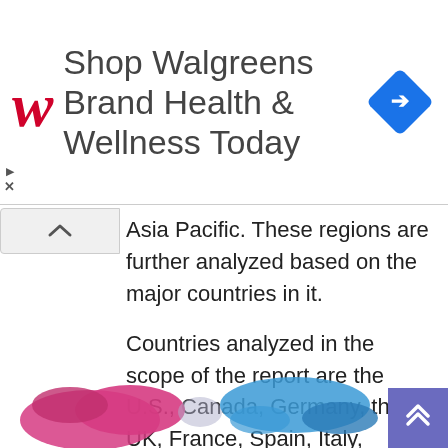[Figure (advertisement): Walgreens Brand advertisement banner showing red cursive W logo and text 'Shop Walgreens Brand Health & Wellness Today' with a blue diamond navigation icon on the right]
Asia Pacific. These regions are further analyzed based on the major countries in it.
Countries analyzed in the scope of the report are the U.S., Canada, Germany, the UK, France, Spain, Italy, China, India, Japan, South Korea, North Korea, Southeast Asia countries, Australia, Brazil, Mexico, GCC countries, South Africa, and Turkey among others.
[Figure (map): Partial world map with colored regions visible at bottom of page — magenta/pink Americas and blue Asia-Pacific regions]